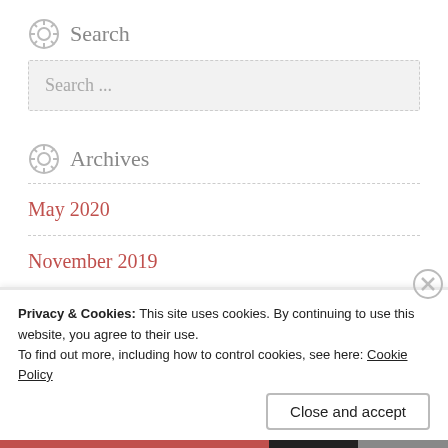Search
Search ...
Archives
May 2020
November 2019
July 2019
Privacy & Cookies: This site uses cookies. By continuing to use this website, you agree to their use.
To find out more, including how to control cookies, see here: Cookie Policy
Close and accept